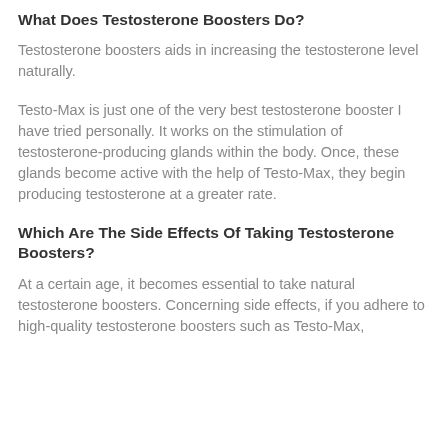What Does Testosterone Boosters Do?
Testosterone boosters aids in increasing the testosterone level naturally.
Testo-Max is just one of the very best testosterone booster I have tried personally. It works on the stimulation of testosterone-producing glands within the body. Once, these glands become active with the help of Testo-Max, they begin producing testosterone at a greater rate.
Which Are The Side Effects Of Taking Testosterone Boosters?
At a certain age, it becomes essential to take natural testosterone boosters. Concerning side effects, if you adhere to high-quality testosterone boosters such as Testo-Max,